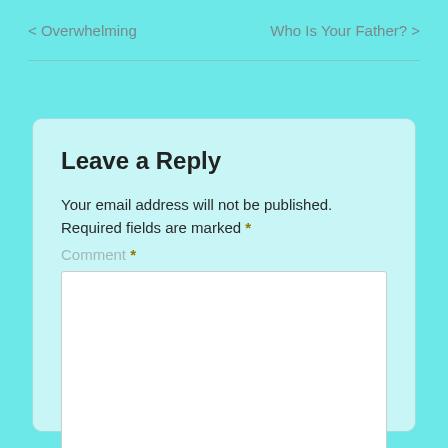< Overwhelming    Who Is Your Father? >
Leave a Reply
Your email address will not be published. Required fields are marked *
Comment *